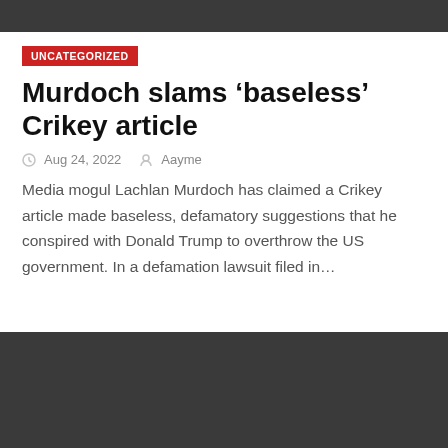UNCATEGORIZED
Murdoch slams ‘baseless’ Crikey article
Aug 24, 2022  Aayme
Media mogul Lachlan Murdoch has claimed a Crikey article made baseless, defamatory suggestions that he conspired with Donald Trump to overthrow the US government. In a defamation lawsuit filed in…